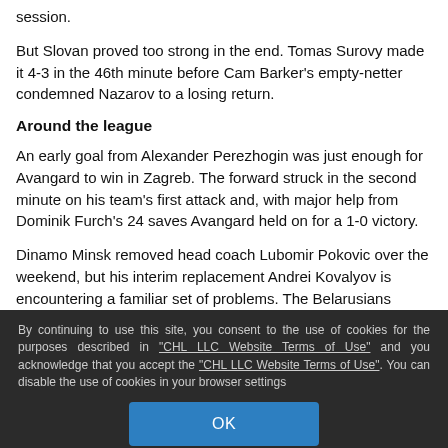session.
But Slovan proved too strong in the end. Tomas Surovy made it 4-3 in the 46th minute before Cam Barker's empty-netter condemned Nazarov to a losing return.
Around the league
An early goal from Alexander Perezhogin was just enough for Avangard to win in Zagreb. The forward struck in the second minute on his team's first attack and, with major help from Dominik Furch's 24 saves Avangard held on for a 1-0 victory.
Dinamo Minsk removed head coach Lubomir Pokovic over the weekend, but his interim replacement Andrei Kovalyov is encountering a familiar set of problems. The Belarusians
By continuing to use this site, you consent to the use of cookies for the purposes described in "CHL LLC Website Terms of Use" and you acknowledge that you accept the "CHL LLC Website Terms of Use". You can disable the use of cookies in your browser settings
OK